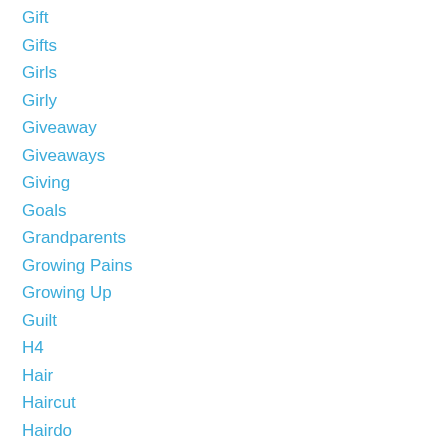Gift
Gifts
Girls
Girly
Giveaway
Giveaways
Giving
Goals
Grandparents
Growing Pains
Growing Up
Guilt
H4
Hair
Haircut
Hairdo
Halloween
Happiness
Happy
Having A Baby
Health